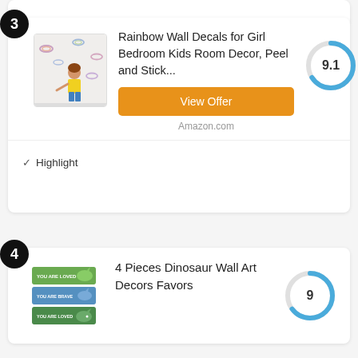[Figure (screenshot): Top partial card (item 3 card top clipped)]
Rainbow Wall Decals for Girl Bedroom Kids Room Decor, Peel and Stick...
View Offer
Amazon.com
[Figure (donut-chart): Score 9.1]
✓ Highlight
4 Pieces Dinosaur Wall Art Decors Favors
[Figure (donut-chart): Score 9]